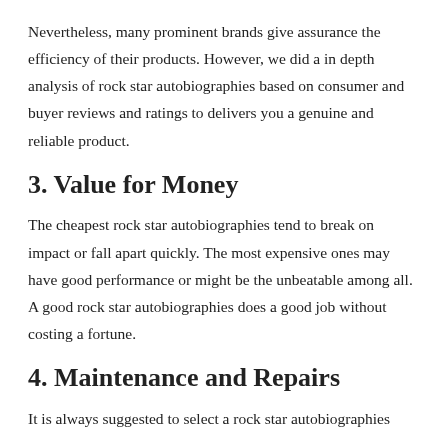Nevertheless, many prominent brands give assurance the efficiency of their products. However, we did a in depth analysis of rock star autobiographies based on consumer and buyer reviews and ratings to delivers you a genuine and reliable product.
3. Value for Money
The cheapest rock star autobiographies tend to break on impact or fall apart quickly. The most expensive ones may have good performance or might be the unbeatable among all. A good rock star autobiographies does a good job without costing a fortune.
4. Maintenance and Repairs
It is always suggested to select a rock star autobiographies